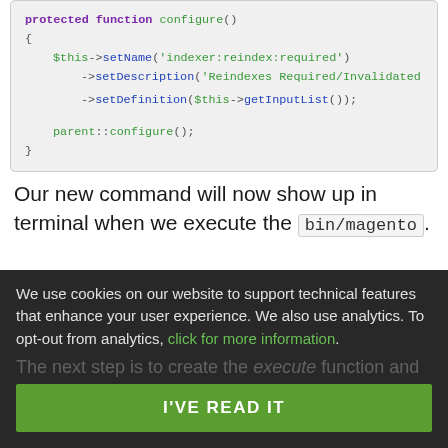[Figure (screenshot): PHP code snippet showing protected function configure() with $this->setName('indexer:reindex:required'), ->setDescription('Reindexes Required/Invalidated...'), ->setDefinition($this->getInputList()); and parent::configure();]
Our new command will now show up in terminal when we execute the bin/magento.
We use cookies on our website to support technical features that enhance your user experience. We also use analytics. To opt-out from analytics, click for more information.
The next step is to create the execute function and...
I'VE READ IT